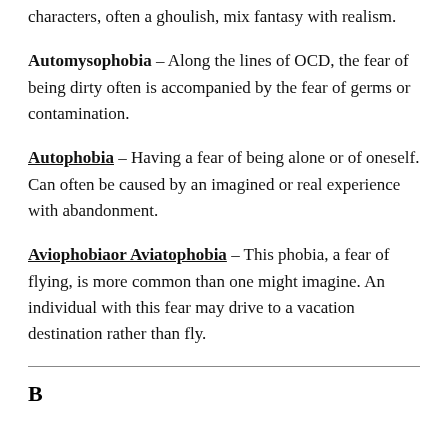characters, often a ghoulish, mix fantasy with realism.
Automysophobia – Along the lines of OCD, the fear of being dirty often is accompanied by the fear of germs or contamination.
Autophobia – Having a fear of being alone or of oneself. Can often be caused by an imagined or real experience with abandonment.
Aviophobiaor Aviatophobia – This phobia, a fear of flying, is more common than one might imagine. An individual with this fear may drive to a vacation destination rather than fly.
B